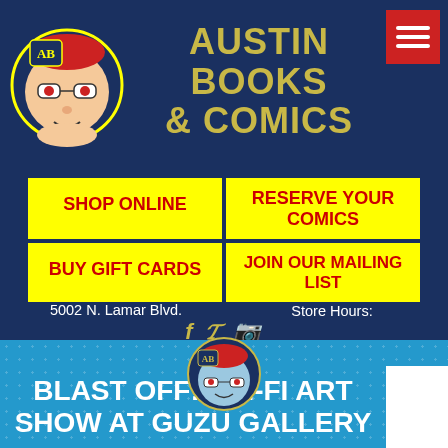[Figure (logo): Austin Books & Comics logo with cartoon character wearing glasses and AB shield]
AUSTIN BOOKS & COMICS
[Figure (other): Red hamburger menu button with three white lines]
SHOP ONLINE
RESERVE YOUR COMICS
BUY GIFT CARDS
JOIN OUR MAILING LIST
5002 N. Lamar Blvd.
Austin, TX 78751
512-454-4197
info@austinbooks.com
Store Hours:
M-F: 11-7
SAT: 10-7 SUN: 12-6
[Figure (logo): AB mascot logo circle in bottom section]
BLAST OFF! SCI-FI ART SHOW AT GUZU GALLERY